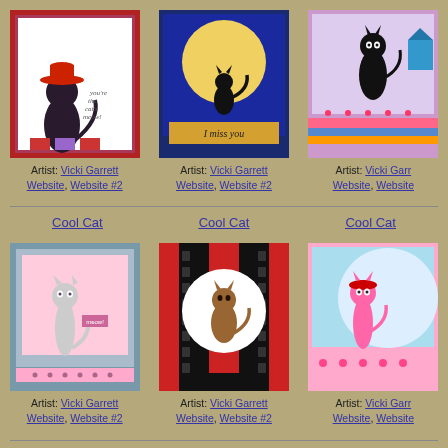[Figure (illustration): Cat with red hat card by Vicki Garrett - 'you're the cat's meow!']
[Figure (illustration): Black cat silhouette on moon card - 'I miss you' by Vicki Garrett]
[Figure (illustration): Black cat on colorful border card by Vicki Garrett]
Artist: Vicki Garrett Website, Website #2
Artist: Vicki Garrett Website, Website #2
Artist: Vicki Garrett Website, Website #2
Cool Cat
Cool Cat
Cool Cat
[Figure (illustration): Grey cat on pink card with blue border by Vicki Garrett]
[Figure (illustration): Brown cat on film strip with red background by Vicki Garrett]
[Figure (illustration): Pink cat on blue background card by Vicki Garrett]
Artist: Vicki Garrett Website, Website #2
Artist: Vicki Garrett Website, Website #2
Artist: Vicki Garrett Website, Website #2